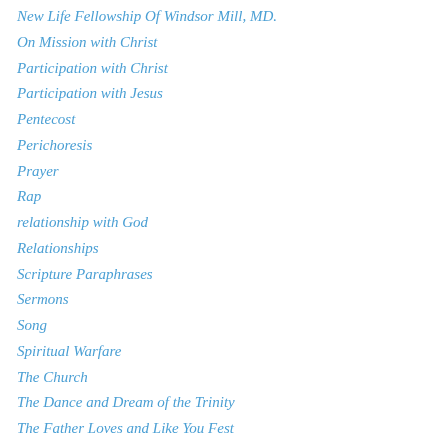New Life Fellowship Of Windsor Mill, MD.
On Mission with Christ
Participation with Christ
Participation with Jesus
Pentecost
Perichoresis
Prayer
Rap
relationship with God
Relationships
Scripture Paraphrases
Sermons
Song
Spiritual Warfare
The Church
The Dance and Dream of the Trinity
The Father Loves and Like You Fest
The Father, Son and Holy Spirit
The Gospel Project
The Holy Spirit